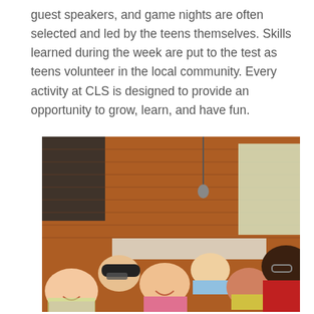guest speakers, and game nights are often selected and led by the teens themselves. Skills learned during the week are put to the test as teens volunteer in the local community. Every activity at CLS is designed to provide an opportunity to grow, learn, and have fun.
[Figure (photo): A group of smiling young people posing together indoors in front of a brick wall. A tall person in a red shirt is leaning in from the right. Several children and teens are gathered together smiling and laughing at a table.]